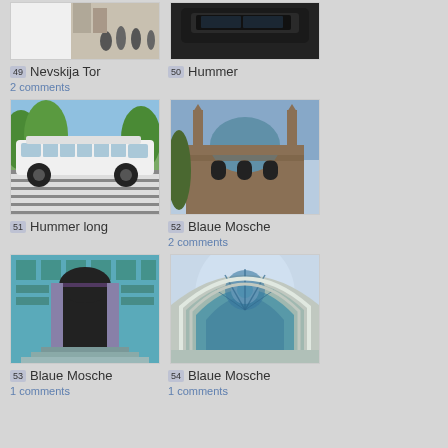[Figure (photo): Partial top of photo - people near a gate/tower]
49 Nevskija Tor
2 comments
[Figure (photo): Partial top of photo - dark SUV/Hummer vehicle]
50 Hummer
[Figure (photo): White Hummer limousine on street with crosswalk]
51 Hummer long
[Figure (photo): Blue mosque with minarets and dome against sky]
52 Blaue Mosche
2 comments
[Figure (photo): Close-up of blue mosque ornate tiled entrance]
53 Blaue Mosche
1 comments
[Figure (photo): Looking up at blue mosque ornate arched entrance with geometric patterns]
54 Blaue Mosche
1 comments